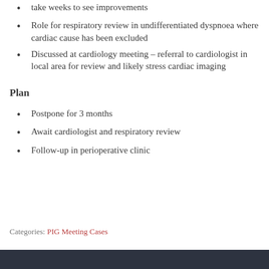take weeks to see improvements
Role for respiratory review in undifferentiated dyspnoea where cardiac cause has been excluded
Discussed at cardiology meeting – referral to cardiologist in local area for review and likely stress cardiac imaging
Plan
Postpone for 3 months
Await cardiologist and respiratory review
Follow-up in perioperative clinic
Categories: PIG Meeting Cases